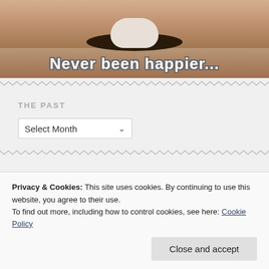[Figure (photo): Meme image of a cat/animal with text 'Never been happier...' in bold Impact font with dark outline, white fill]
THE PAST
Select Month (dropdown)
LOOKING FOR ELVIS?
Privacy & Cookies: This site uses cookies. By continuing to use this website, you agree to their use.
To find out more, including how to control cookies, see here: Cookie Policy
Close and accept